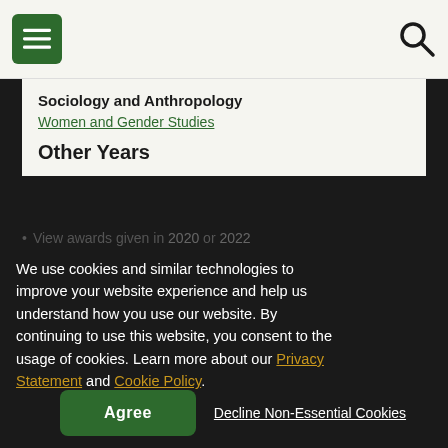Navigation header with menu and search icons
Sociology and Anthropology
Women and Gender Studies
Other Years
View awards given in 2020 or 2022
We use cookies and similar technologies to improve your website experience and help us understand how you use our website. By continuing to use this website, you consent to the usage of cookies. Learn more about our Privacy Statement and Cookie Policy.
[Figure (logo): George Mason University logo (ghost/watermark) in dark background]
Agree
Decline Non-Essential Cookies